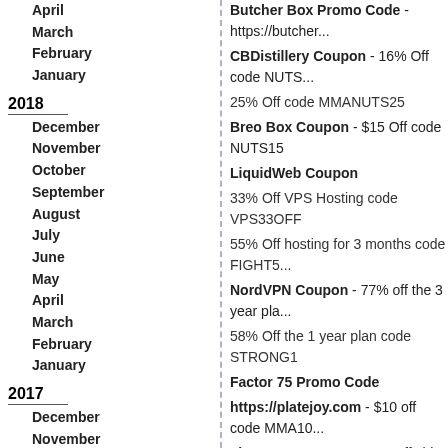April
March
February
January
2018
December
November
October
September
August
July
June
May
April
March
February
January
2017
December
November
October
September
August
July
June
May
April
March
February
January
Butcher Box Promo Code - https://butcher...
CBDistillery Coupon - 16% Off code NUTS...
25% Off code MMANUTS25
Breo Box Coupon - $15 Off code NUTS15
LiquidWeb Coupon
33% Off VPS Hosting code VPS33OFF
55% Off hosting for 3 months code FIGHT55
NordVPN Coupon - 77% off the 3 year plan...
58% Off the 1 year plan code STRONG1
Factor 75 Promo Code
https://platejoy.com - $10 off code MMA10...
TireBuyer Coupon - 10% off ship to store o...
KetoLogic Coupon - 10% Off code MMA10...
https://watchshop.com - 25% Off code MM...
Freshly Promo Code - $40 off the first 4 or...
$50 off the first 5 orders code MIXED50AFF
$30 Off the first 2 orders code MIXED30AFF
Menlo House Coupon - 50% off the first 2...
Magic Spoon Discount Code - Free Shippi...
MMA Promo Code - $100 Off code MMAFS...